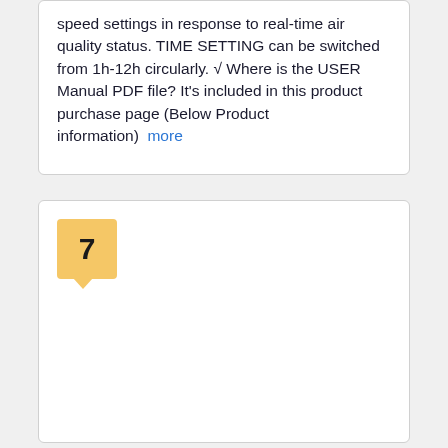speed settings in response to real-time air quality status. TIME SETTING can be switched from 1h-12h circularly. √ Where is the USER Manual PDF file? It's included in this product purchase page (Below Product information)  more
7